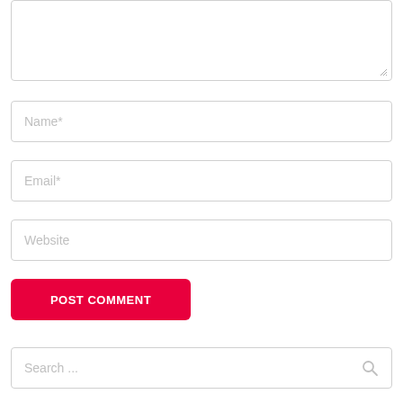[Figure (screenshot): Textarea input box (partially visible, top of page), with resize handle at bottom right corner]
Name*
Email*
Website
POST COMMENT
Search ...